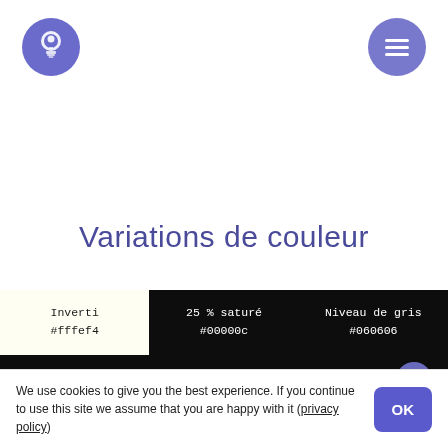[Figure (illustration): Purple circle with lightbulb icon (top left)]
[Figure (illustration): Purple circle with hamburger menu icon (top right)]
Variations de couleur
| Inverti #fffef4 | 25 % saturé #00000c | Niveau de gris #060606 |
| --- | --- | --- |
| 25 % plus léger #00010e | Original #00010b | 25 % plus sombre #000109 |
We use cookies to give you the best experience. If you continue to use this site we assume that you are happy with it (privacy policy)